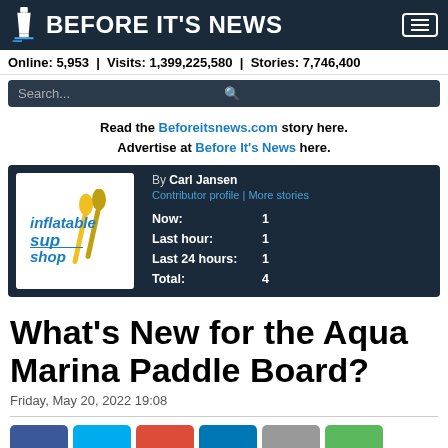BEFORE IT'S NEWS
Online: 5,953 | Visits: 1,399,225,580 | Stories: 7,746,400
Search...
Read the Beforeitsnews.com story here. Advertise at Before It's News here.
[Figure (logo): Inflatable SUP Shop logo with paddles]
By Carl Jansen
Contributor profile | More stories
Now: 1
Last hour: 1
Last 24 hours: 1
Total: 4
What’s New for the Aqua Marina Paddle Board?
Friday, May 20, 2022 19:08